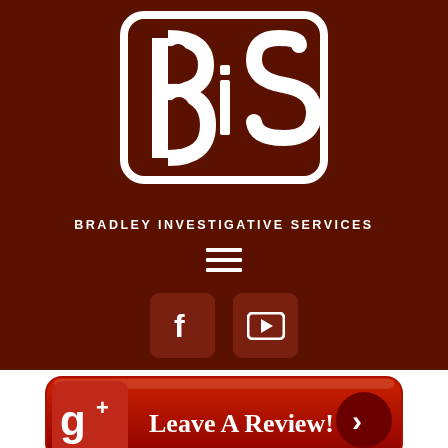[Figure (logo): BIS logo — stylized white B and S letters intertwined on dark brown background, representing Bradley Investigative Services]
BRADLEY INVESTIGATIVE SERVICES
[Figure (infographic): Hamburger menu icon (three horizontal white lines)]
[Figure (infographic): Social media icons: Facebook (f) and YouTube (play button) in dark red rounded square boxes]
[Figure (infographic): Google+ Leave A Review button — red rounded rectangle with Google+ logo on left, white text 'Leave A Review!', and dark red circle with right arrow on right]